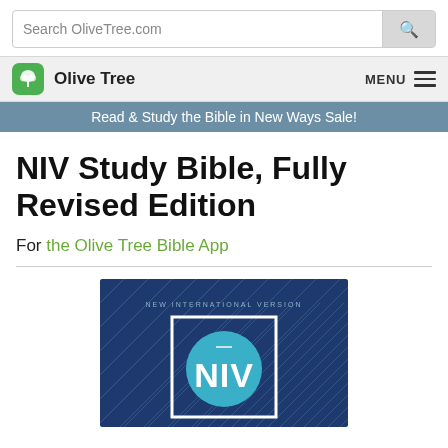Search OliveTree.com
Olive Tree  MENU
Read & Study the Bible in New Ways Sale!
NIV Study Bible, Fully Revised Edition
For the Olive Tree Bible App
[Figure (photo): NIV Study Bible Fully Revised Edition book cover — dark blue with diamond pattern, reads NEW INTERNATIONAL VERSION, white square border with cyan circle containing NIV lettering]